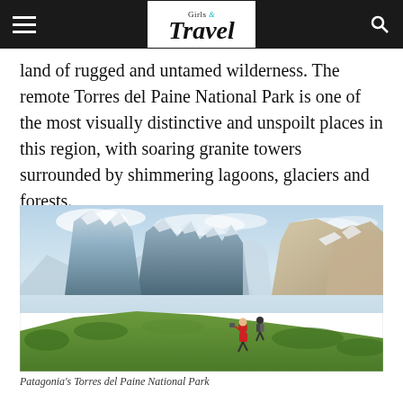Girls & Travel
land of rugged and untamed wilderness. The remote Torres del Paine National Park is one of the most visually distinctive and unspoilt places in this region, with soaring granite towers surrounded by shimmering lagoons, glaciers and forests.
[Figure (photo): Two hikers on a green hillside with dramatic snow-capped granite peaks of Torres del Paine in the background under a partly cloudy sky — Patagonia's Torres del Paine National Park.]
Patagonia's Torres del Paine National Park